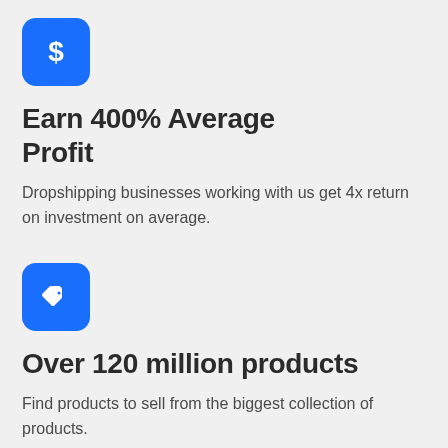[Figure (infographic): Blue rounded square icon with a white dollar sign symbol]
Earn 400% Average Profit
Dropshipping businesses working with us get 4x return on investment on average.
[Figure (infographic): Blue rounded square icon with a white price tag symbol]
Over 120 million products
Find products to sell from the biggest collection of products.